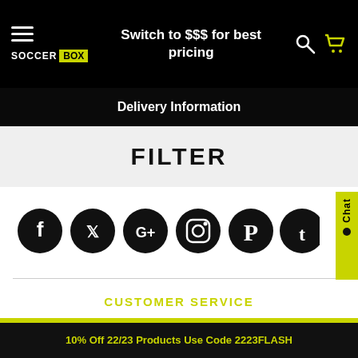Switch to $$$ for best pricing
Delivery Information
FILTER
[Figure (illustration): Social media icons row: Facebook, Twitter, Google+, Instagram, Pinterest, Tumblr — all black circles with white logos]
CUSTOMER SERVICE
10% Off 22/23 Products Use Code 2223FLASH